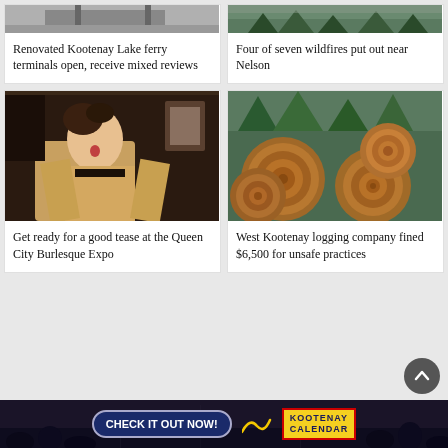[Figure (photo): Kootenay Lake ferry terminal photo, partially cropped at top, showing structure]
Renovated Kootenay Lake ferry terminals open, receive mixed reviews
[Figure (photo): Forest scene with dark green trees, wildfire context near Nelson]
Four of seven wildfires put out near Nelson
[Figure (photo): Woman in vintage burlesque costume seated in ornate chair, dark background]
Get ready for a good tease at the Queen City Burlesque Expo
[Figure (photo): Cross-section of several logs with green trees in background]
West Kootenay logging company fined $6,500 for unsafe practices
[Figure (infographic): Banner ad: CHECK IT OUT NOW! with Kootenay Calendar logo, crowd in background]